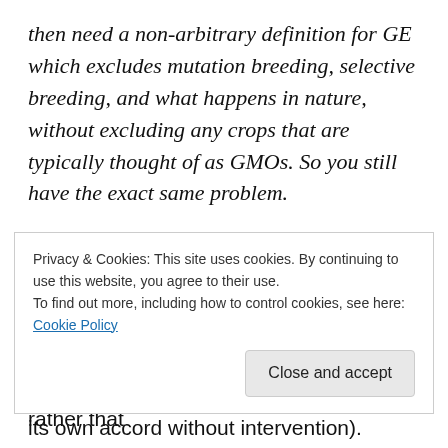then need a non-arbitrary definition for GE which excludes mutation breeding, selective breeding, and what happens in nature, without excluding any crops that are typically thought of as GMOs. So you still have the exact same problem.
“Organic”
Finally, let’s talk about the term “organic.” This is perhaps the greatest marketing term ever coined, and the problem with it is not that a definition doesn’t exist, but rather that
its own accord without intervention).
Privacy & Cookies: This site uses cookies. By continuing to use this website, you agree to their use.
To find out more, including how to control cookies, see here: Cookie Policy